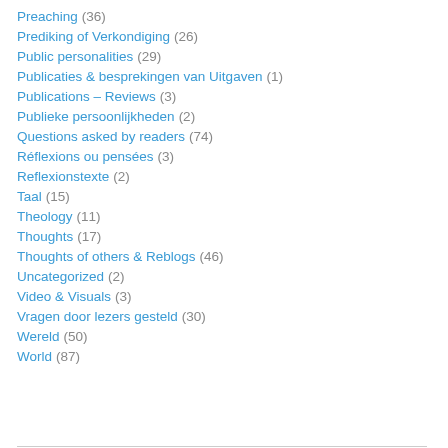Preaching (36)
Prediking of Verkondiging (26)
Public personalities (29)
Publicaties & besprekingen van Uitgaven (1)
Publications – Reviews (3)
Publieke persoonlijkheden (2)
Questions asked by readers (74)
Réflexions ou pensées (3)
Reflexionstexte (2)
Taal (15)
Theology (11)
Thoughts (17)
Thoughts of others & Reblogs (46)
Uncategorized (2)
Video & Visuals (3)
Vragen door lezers gesteld (30)
Wereld (50)
World (87)